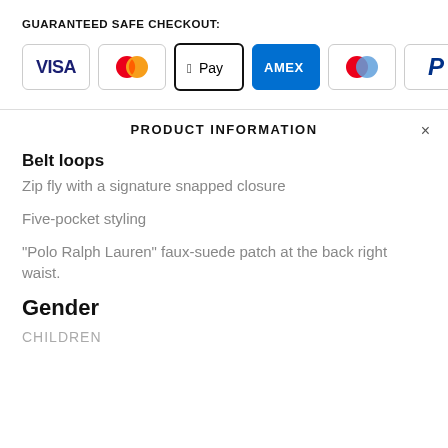GUARANTEED SAFE CHECKOUT:
[Figure (infographic): Payment method icons: Visa, Mastercard, Apple Pay, Amex, Discover/Diners, PayPal]
PRODUCT INFORMATION
Belt loops
Zip fly with a signature snapped closure
Five-pocket styling
"Polo Ralph Lauren" faux-suede patch at the back right waist.
Gender
CHILDREN